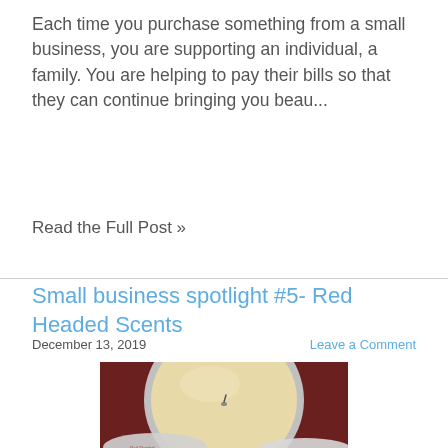Each time you purchase something from a small business, you are supporting an individual, a family. You are helping to pay their bills so that they can continue bringing you beau...
Read the Full Post »
Small business spotlight #5- Red Headed Scents
December 13, 2019
Leave a Comment
[Figure (photo): Top-down view of an open tin candle with a cream/ivory wax surface and a small wick in the center, placed on a dark red/brown background. A partial candle tin lid is visible at the bottom of the image with a Red Headed Scents logo.]